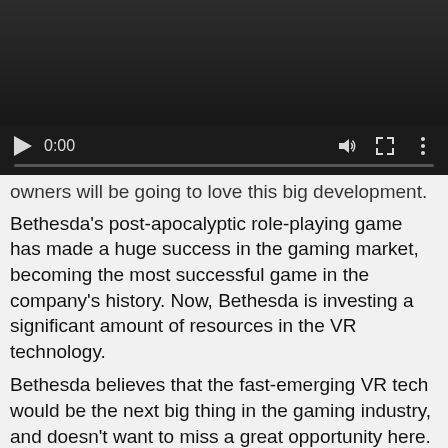[Figure (screenshot): Embedded video player with dark background, play button, time display showing 0:00, volume icon, fullscreen icon, and more options icon. Progress bar at bottom.]
owners will be going to love this big development.
Bethesda's post-apocalyptic role-playing game has made a huge success in the gaming market, becoming the most successful game in the company's history. Now, Bethesda is investing a significant amount of resources in the VR technology.
Bethesda believes that the fast-emerging VR tech would be the next big thing in the gaming industry, and doesn't want to miss a great opportunity here. And with the VR version of the "Fallout 4" just around the corner, Bethesda might expect an even much bigger crowd for the Fallout franchise and for the whole company.